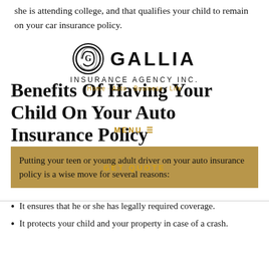she is attending college, and that qualifies your child to remain on your car insurance policy.
[Figure (logo): Gallia Insurance Agency Inc. logo with a circular G emblem and GALLIA text, INSURANCE AGENCY INC. below]
Benefits Of Having Your Child On Your Auto Insurance Policy
Putting your teen or young adult driver on your auto insurance policy is a wise move for several reasons:
It ensures that he or she has legally required coverage.
It protects your child and your property in case of a crash.